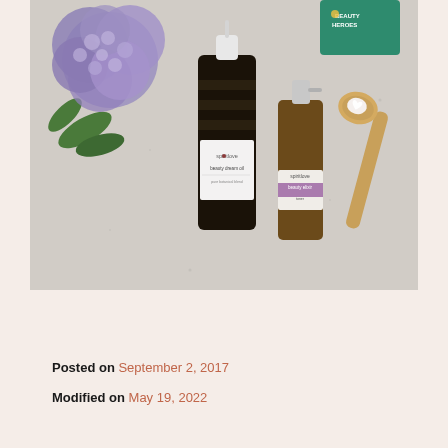[Figure (photo): Flat-lay photo of two dark glass beauty product bottles (one large with dropper top labeled 'beauty dream oil', one smaller spray bottle labeled 'beauty elixir') alongside a wooden spoon with a white heart-shaped product, purple hydrangea flowers, and a green Beauty Heroes card, all on a light stone/concrete surface.]
Posted on September 2, 2017
Modified on May 19, 2022